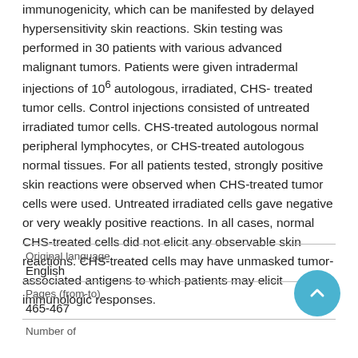immunogenicity, which can be manifested by delayed hypersensitivity skin reactions. Skin testing was performed in 30 patients with various advanced malignant tumors. Patients were given intradermal injections of 10^6 autologous, irradiated, CHS-treated tumor cells. Control injections consisted of untreated irradiated tumor cells. CHS-treated autologous normal peripheral lymphocytes, or CHS-treated autologous normal tissues. For all patients tested, strongly positive skin reactions were observed when CHS-treated tumor cells were used. Untreated irradiated cells gave negative or very weakly positive reactions. In all cases, normal CHS-treated cells did not elicit any observable skin reactions. CHS-treated cells may have unmasked tumor-associated antigens to which patients may elicit immunologic responses.
| Field | Value |
| --- | --- |
| Original language | English |
| Pages (from-to) | 465-467 |
| Number of |  |